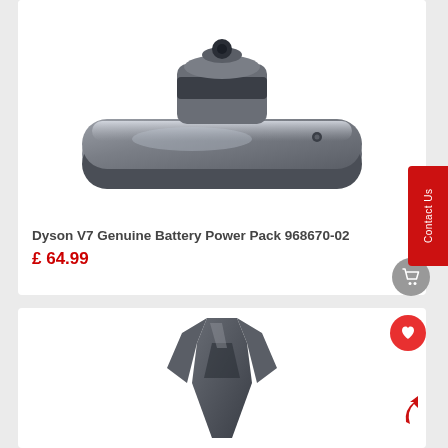[Figure (photo): Dyson V7 battery power pack product photo - grey rounded rectangular battery unit]
Dyson V7 Genuine Battery Power Pack 968670-02
£ 64.99
[Figure (photo): Dyson vacuum cleaner accessory part - dark grey plastic component]